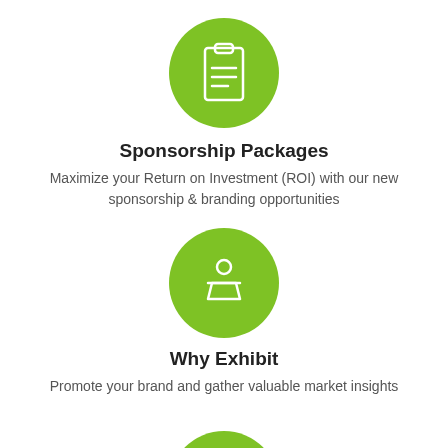[Figure (illustration): Green circle with white clipboard/document icon]
Sponsorship Packages
Maximize your Return on Investment (ROI) with our new sponsorship & branding opportunities
[Figure (illustration): Green circle with white speaker/presenter at podium icon]
Why Exhibit
Promote your brand and gather valuable market insights
[Figure (illustration): Green circle partially visible at bottom of page]